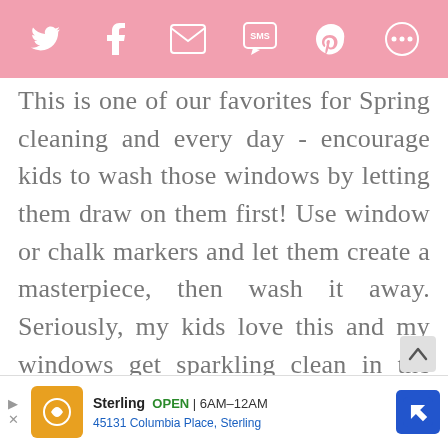[Social share icons: Twitter, Facebook, Email, SMS, Pinterest, More]
This is one of our favorites for Spring cleaning and every day - encourage kids to wash those windows by letting them draw on them first! Use window or chalk markers and let them create a masterpiece, then wash it away. Seriously, my kids love this and my windows get sparkling clean in the process! Want to see for yourself? Check out the video here
Sterling OPEN 6AM-12AM 45131 Columbia Place, Sterling